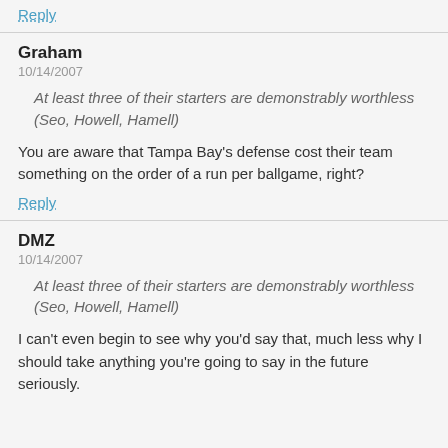Reply
Graham
10/14/2007
At least three of their starters are demonstrably worthless (Seo, Howell, Hamell)
You are aware that Tampa Bay's defense cost their team something on the order of a run per ballgame, right?
Reply
DMZ
10/14/2007
At least three of their starters are demonstrably worthless (Seo, Howell, Hamell)
I can't even begin to see why you'd say that, much less why I should take anything you're going to say in the future seriously.